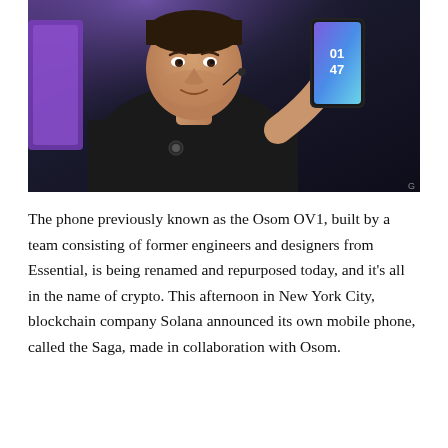[Figure (photo): A man in a black t-shirt holding up a smartphone showing '01 47' on its screen, presenting on a stage with purple and dark background lighting.]
The phone previously known as the Osom OV1, built by a team consisting of former engineers and designers from Essential, is being renamed and repurposed today, and it's all in the name of crypto. This afternoon in New York City, blockchain company Solana announced its own mobile phone, called the Saga, made in collaboration with Osom.